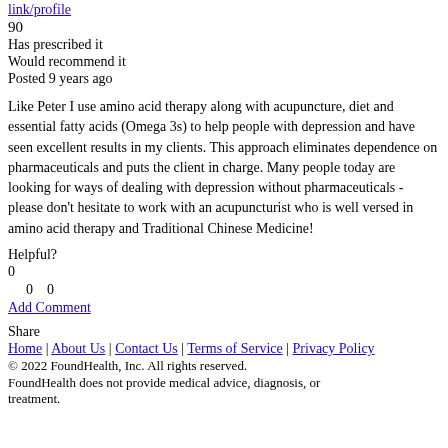link/profile
90
Has prescribed it
Would recommend it
Posted 9 years ago
Like Peter I use amino acid therapy along with acupuncture, diet and essential fatty acids (Omega 3s) to help people with depression and have seen excellent results in my clients. This approach eliminates dependence on pharmaceuticals and puts the client in charge. Many people today are looking for ways of dealing with depression without pharmaceuticals - please don't hesitate to work with an acupuncturist who is well versed in amino acid therapy and Traditional Chinese Medicine!
Helpful?
0
0    0
Add Comment
Share
Home | About Us | Contact Us | Terms of Service | Privacy Policy | © 2022 FoundHealth, Inc. All rights reserved. FoundHealth does not provide medical advice, diagnosis, or treatment.